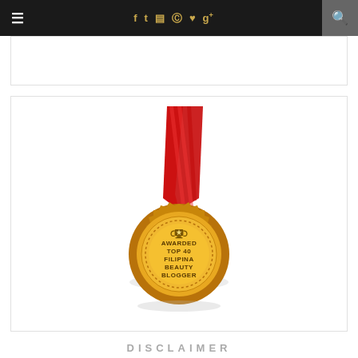≡  f  t  ⊡  ℗  ♥  g+  🔍
[Figure (illustration): A gold medal award badge with red ribbon lanyard. Text on medal reads: AWARDED TOP 40 FILIPINA BEAUTY BLOGGER with a trophy icon at top.]
DISCLAIMER